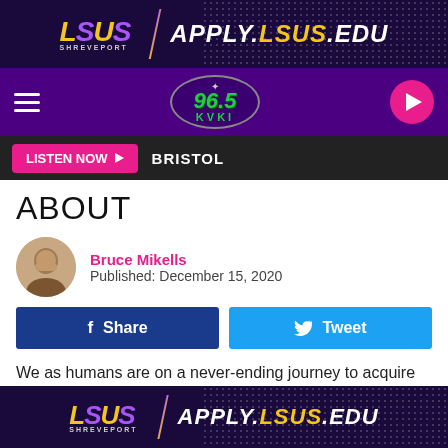[Figure (logo): LSUS Shreveport top banner with APPLY.LSUS.EDU text on dark purple background]
[Figure (logo): 96.5 KVKI radio station logo on purple navigation bar with hamburger menu and play button]
LISTEN NOW ▶  BRISTOL
ABOUT
Bruce Mikells
Published: December 15, 2020
Share   Tweet
We as humans are on a never-ending journey to acquire wisdom. Okay, in between the bouts of acquiring wisdom to do find time to invent technology, raise families, travel
[Figure (logo): LSUS Shreveport bottom banner with APPLY.LSUS.EDU text on dark purple background]